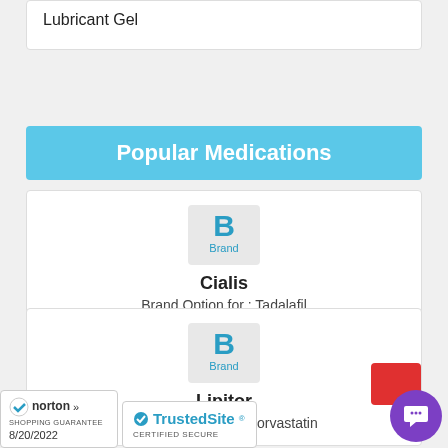Lubricant Gel
Popular Medications
[Figure (logo): Brand logo with letter B and text 'Brand' for Cialis]
Cialis
Brand Option for : Tadalafil
[Figure (logo): Brand logo with letter B and text 'Brand' for Lipitor]
Lipitor
Brand Option for : Atorvastatin
[Figure (logo): Norton Shopping Guarantee badge dated 8/20/2022]
[Figure (logo): TrustedSite Certified Secure badge]